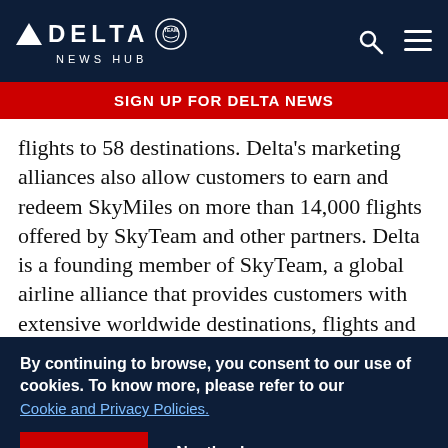DELTA NEWS HUB
SIGN UP FOR DELTA NEWS
flights to 58 destinations. Delta's marketing alliances also allow customers to earn and redeem SkyMiles on more than 14,000 flights offered by SkyTeam and other partners. Delta is a founding member of SkyTeam, a global airline alliance that provides customers with extensive worldwide destinations, flights and services. Including its SkyTeam and worldwide codeshare
By continuing to browse, you consent to our use of cookies. To know more, please refer to our Cookie and Privacy Policies.
I AGREE
No, thanks